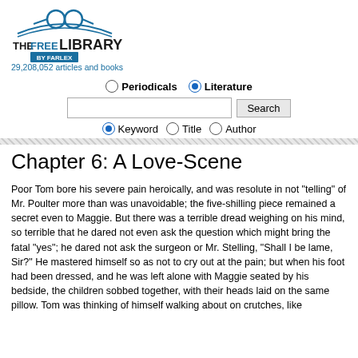[Figure (logo): The Free Library by Farlex logo with glasses icon and open book]
29,208,052 articles and books
Periodicals   Literature (radio buttons for search scope)
Keyword   Title   Author (radio buttons for search type)
Chapter 6: A Love-Scene
Poor Tom bore his severe pain heroically, and was resolute in not "telling" of Mr. Poulter more than was unavoidable; the five-shilling piece remained a secret even to Maggie. But there was a terrible dread weighing on his mind, so terrible that he dared not even ask the question which might bring the fatal "yes"; he dared not ask the surgeon or Mr. Stelling, "Shall I be lame, Sir?" He mastered himself so as not to cry out at the pain; but when his foot had been dressed, and he was left alone with Maggie seated by his bedside, the children sobbed together, with their heads laid on the same pillow. Tom was thinking of himself walking about on crutches, like